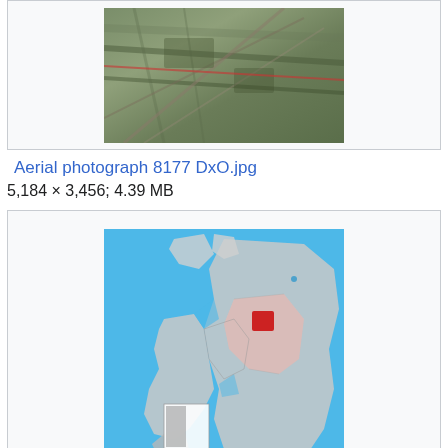[Figure (photo): Aerial photograph showing agricultural fields and roads from above, with brownish-green tones]
Aerial photograph 8177 DxO.jpg
5,184 × 3,456; 4.39 MB
[Figure (map): Map showing Emmelsbuell-Horsbuell location in NF (Nordfriesland), with blue water areas, gray land regions, and a red highlighted municipality]
Emmelsbuell-Horsbuell in NF.PNG
353 × 340; 8 KB
[Figure (photo): Partially visible image at the bottom of the page]